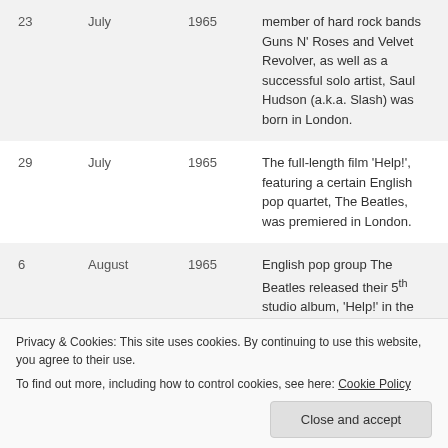| Day | Month | Year | Description |
| --- | --- | --- | --- |
| 23 | July | 1965 | member of hard rock bands Guns N' Roses and Velvet Revolver, as well as a successful solo artist, Saul Hudson (a.k.a. Slash) was born in London. |
| 29 | July | 1965 | The full-length film 'Help!', featuring a certain English pop quartet, The Beatles, was premiered in London. |
| 6 | August | 1965 | English pop group The Beatles released their 5th studio album, 'Help!' in the UK, which was also... |
| 15 | August | 1965 | broke the (then) record for an... |
Privacy & Cookies: This site uses cookies. By continuing to use this website, you agree to their use. To find out more, including how to control cookies, see here: Cookie Policy